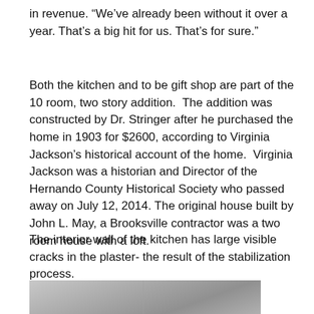in revenue.  “We’ve already been without it over a year. That’s a big hit for us. That’s for sure.”
Both the kitchen and to be gift shop are part of the 10 room, two story addition.  The addition was constructed by Dr. Stringer after he purchased the home in 1903 for $2600, according to Virginia Jackson’s historical account of the home.  Virginia Jackson was a historian and Director of the Hernando County Historical Society who passed away on July 12, 2014. The original house built by John L. May, a Brooksville contractor was a two room house with a loft.
The interior wall of the kitchen has large visible cracks in the plaster- the result of the stabilization process.
[Figure (photo): Photograph of interior wall of kitchen showing plaster and ceiling area]